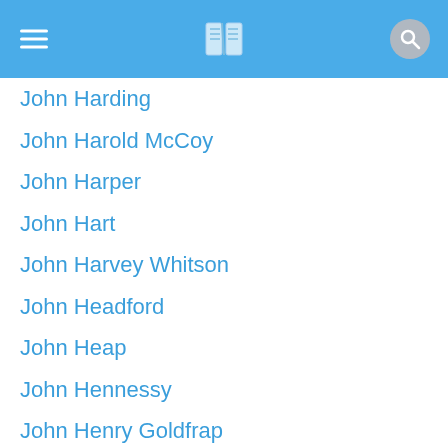Navigation header with menu, book icon, and search button
John Harding
John Harold McCoy
John Harper
John Hart
John Harvey Whitson
John Headford
John Heap
John Hennessy
John Henry Goldfrap
John Henry Newman
John Hersey
John Hicks
John Hosh
John Hulme